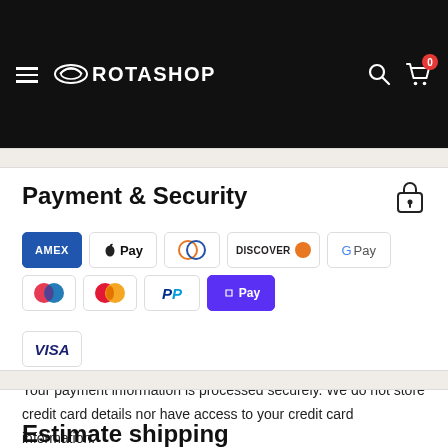[Figure (logo): Rotashop website header with hamburger menu, Rotashop logo, search icon, and cart icon with 0 badge on black background]
Payment & Security
[Figure (infographic): Payment method icons: American Express, Apple Pay, Diners Club, Discover, Google Pay, Maestro, Mastercard, PayPal, ShopPay, Visa]
Your payment information is processed securely. We do not store credit card details nor have access to your credit card information.
Estimate shipping